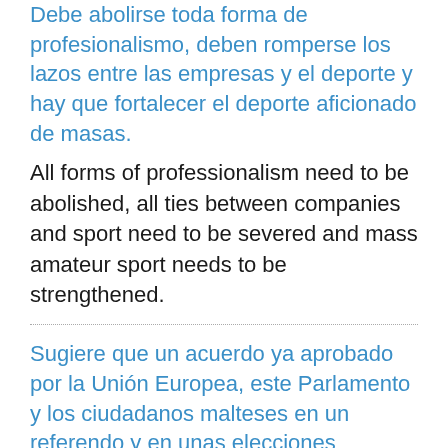Debe abolirse toda forma de profesionalismo, deben romperse los lazos entre las empresas y el deporte y hay que fortalecer el deporte aficionado de masas.
All forms of professionalism need to be abolished, all ties between companies and sport need to be severed and mass amateur sport needs to be strengthened.
Sugiere que un acuerdo ya aprobado por la Unión Europea, este Parlamento y los ciudadanos malteses en un referendo y en unas elecciones generales, debe romperse.
It suggests that an agreement already approved by the European Union, this Parliament and the Maltese people in a referendum and general